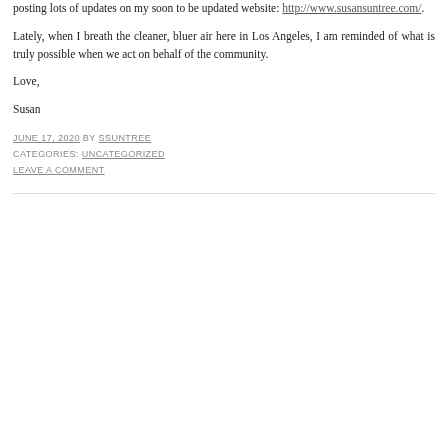posting lots of updates on my soon to be updated website: http://www.susansuntree.com/.
Lately, when I breath the cleaner, bluer air here in Los Angeles, I am reminded of what is truly possible when we act on behalf of the community.
Love,
Susan
JUNE 17, 2020 BY SSUNTREE
CATEGORIES: UNCATEGORIZED
LEAVE A COMMENT